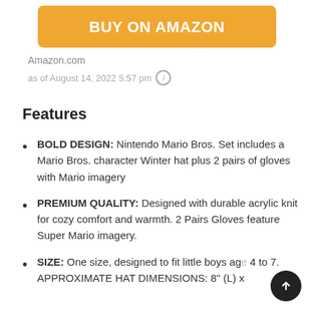[Figure (other): Orange 'BUY ON AMAZON' button]
Amazon.com
as of August 14, 2022 5:57 pm ℹ
Features
BOLD DESIGN: Nintendo Mario Bros. Set includes a Mario Bros. character Winter hat plus 2 pairs of gloves with Mario imagery
PREMIUM QUALITY: Designed with durable acrylic knit for cozy comfort and warmth. 2 Pairs Gloves feature Super Mario imagery.
SIZE: One size, designed to fit little boys age 4 to 7. APPROXIMATE HAT DIMENSIONS: 8" (L) x